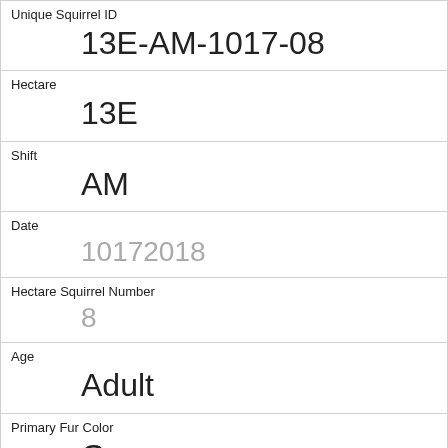| Unique Squirrel ID | 13E-AM-1017-08 |
| Hectare | 13E |
| Shift | AM |
| Date | 10172018 |
| Hectare Squirrel Number | 8 |
| Age | Adult |
| Primary Fur Color | Gray |
| Highlight Fur Color | Cinnamon |
| Combination of Primary and Highlight Color | Gray+Cinnamon |
| Color notes |  |